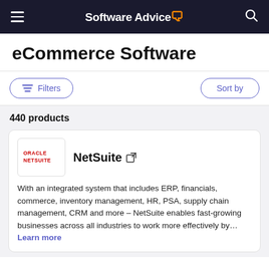Software Advice
eCommerce Software
Filters   Sort by
440 products
NetSuite
With an integrated system that includes ERP, financials, commerce, inventory management, HR, PSA, supply chain management, CRM and more – NetSuite enables fast-growing businesses across all industries to work more effectively by… Learn more